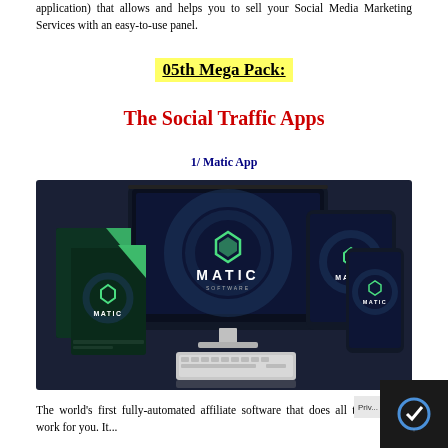application) that allows and helps you to sell your Social Media Marketing Services with an easy-to-use panel.
05th Mega Pack:
The Social Traffic Apps
1/ Matic App
[Figure (photo): Product mockup showing Matic Software on a desktop monitor, tablet, smartphone, and software box packaging against a dark background with tech design elements.]
The world's first fully-automated affiliate software that does all the hard work for you. It...